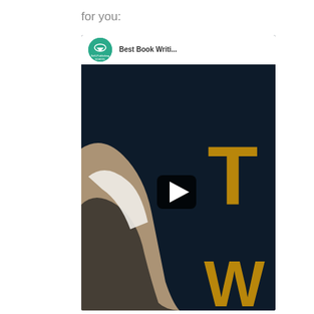for you:
[Figure (screenshot): A YouTube video thumbnail embed showing a channel named 'Best Book Writi...' with a teal circular logo for Self-Publishing School. The video thumbnail shows a dark navy background with a person's shoulder/arm visible on the left, large gold letters 'T' and 'W' partially visible, and a YouTube play button in the center.]